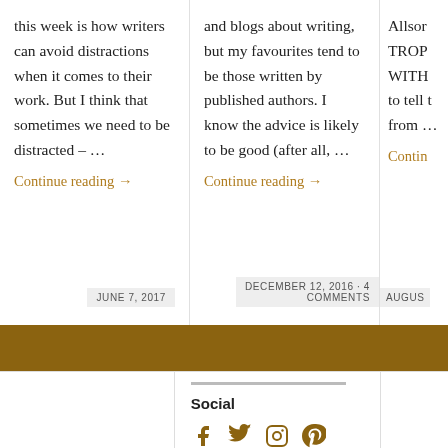this week is how writers can avoid distractions when it comes to their work. But I think that sometimes we need to be distracted – …
Continue reading →
JUNE 7, 2017
and blogs about writing, but my favourites tend to be those written by published authors. I know the advice is likely to be good (after all, …
Continue reading →
DECEMBER 12, 2016 · 4 COMMENTS
Allsor TROP WITH to tell t from …
Contin
AUGUS
Social
[Figure (infographic): Social media icons: Facebook, Twitter, Instagram, Pinterest in gold/brown color]